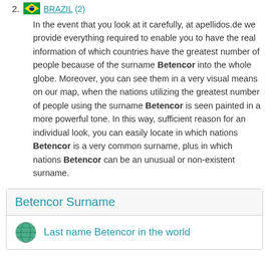2. BRAZIL (2)
In the event that you look at it carefully, at apellidos.de we provide everything required to enable you to have the real information of which countries have the greatest number of people because of the surname Betencor into the whole globe. Moreover, you can see them in a very visual means on our map, when the nations utilizing the greatest number of people using the surname Betencor is seen painted in a more powerful tone. In this way, sufficient reason for an individual look, you can easily locate in which nations Betencor is a very common surname, plus in which nations Betencor can be an unusual or non-existent surname.
Betencor Surname
Last name Betencor in the world